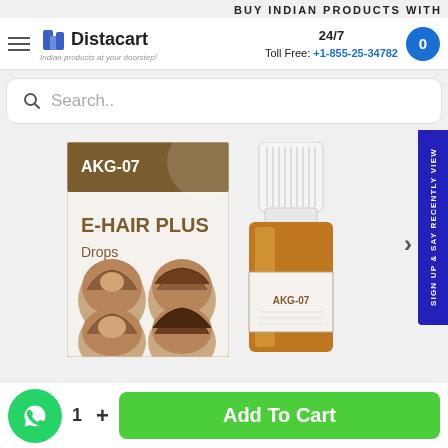BUY INDIAN PRODUCTS WITH
[Figure (screenshot): Distacart website navigation bar with logo, 24/7 toll free number +1-855-25-34782 and cart button]
[Figure (screenshot): Search bar with placeholder text 'Search..']
[Figure (photo): Product image of AKG-07 E-HAIR PLUS Drops with packaging box showing before/after hair loss images and a brown glass dropper bottle]
[Figure (screenshot): Side tab with text 'Sign up & say RECENTLY VIEW']
Add To Cart
1  +